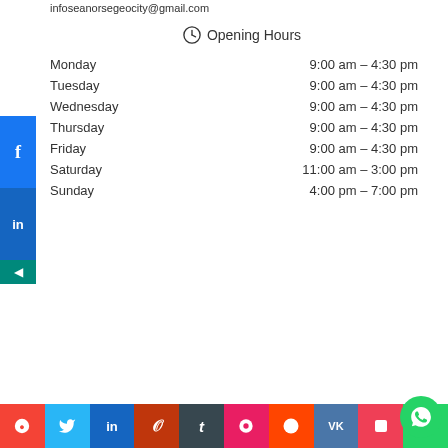infoseanorsegeocity@gmail.com
Opening Hours
| Day | Hours |
| --- | --- |
| Monday | 9:00 am – 4:30 pm |
| Tuesday | 9:00 am – 4:30 pm |
| Wednesday | 9:00 am – 4:30 pm |
| Thursday | 9:00 am – 4:30 pm |
| Friday | 9:00 am – 4:30 pm |
| Saturday | 11:00 am – 3:00 pm |
| Sunday | 4:00 pm – 7:00 pm |